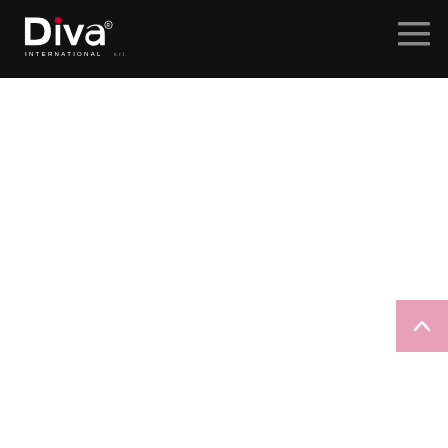[Figure (logo): Diva International s.r.l. logo — white stylized 'Diva' text with a red dot accent and 'INTERNATIONAL s.r.l.' in white spaced lettering below, on a black background]
[Figure (other): Hamburger menu icon — three horizontal grey lines stacked, on black background, top right of header]